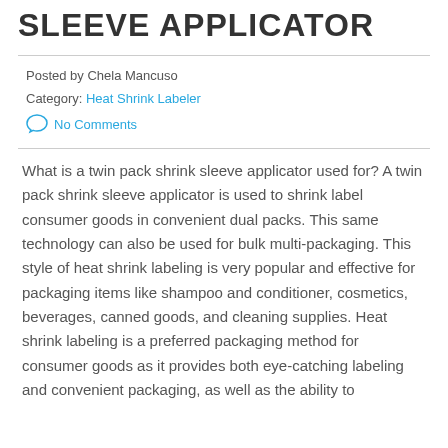SLEEVE APPLICATOR
Posted by Chela Mancuso
Category: Heat Shrink Labeler
No Comments
What is a twin pack shrink sleeve applicator used for? A twin pack shrink sleeve applicator is used to shrink label consumer goods in convenient dual packs. This same technology can also be used for bulk multi-packaging. This style of heat shrink labeling is very popular and effective for packaging items like shampoo and conditioner, cosmetics, beverages, canned goods, and cleaning supplies. Heat shrink labeling is a preferred packaging method for consumer goods as it provides both eye-catching labeling and convenient packaging, as well as the ability to...